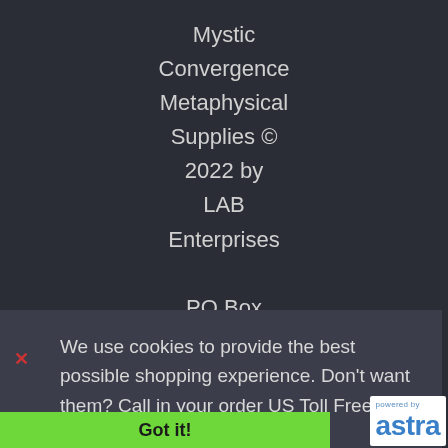Mystic Convergence Metaphysical Supplies © 2022 by LAB Enterprises PO Box 1773, Sanford, FL
Need Help?
We use cookies to provide the best possible shopping experience. Don't want them? Call in your order US Toll Free 877-822-3318.
Learn more
Got it!
[Figure (logo): Astra logo with 'powered by' text above in blue, and 'astra' in bold blue letters]